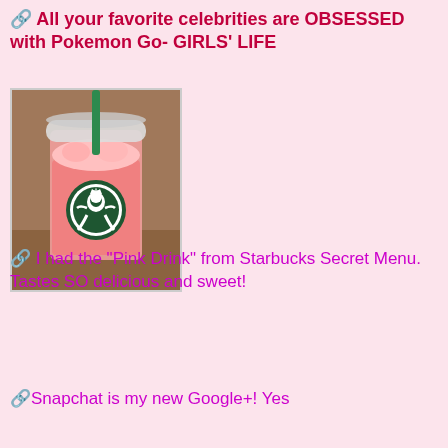🔗 All your favorite celebrities are OBSESSED with Pokemon Go- GIRLS' LIFE
[Figure (photo): A pink Starbucks drink in a clear plastic cup with a green straw and the Starbucks logo, sitting on a wooden table.]
🔗 I had the "Pink Drink" from Starbucks Secret Menu. Tastes SO delicious and sweet!
🔗Snapchat is my new Google+! Yes